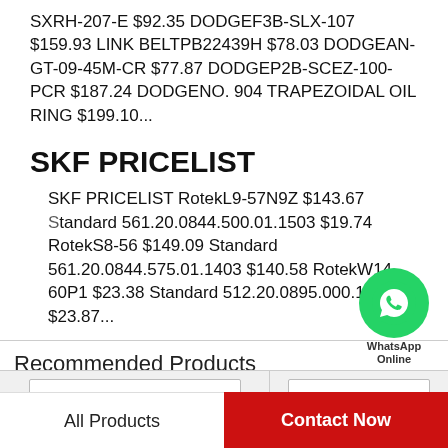SXRH-207-E $92.35 DODGEF3B-SLX-107 $159.93 LINK BELTPB22439H $78.03 DODGEAN-GT-09-45M-CR $77.87 DODGEP2B-SCEZ-100-PCR $187.24 DODGENO. 904 TRAPEZOIDAL OIL RING $199.10...
SKF PRICELIST
SKF PRICELIST RotekL9-57N9Z $143.67 Standard 561.20.0844.500.01.1503 $19.74 RotekS8-56 $149.09 Standard 561.20.0844.575.01.1403 $140.58 RotekW14-60P1 $23.38 Standard 512.20.0895.000.11.1504 $23.87...
[Figure (other): WhatsApp Online contact button/bubble with green circle icon and label 'WhatsApp Online']
Recommended Products
[Figure (other): Two product card placeholders shown as white rectangles on grey background]
All Products
Contact Now